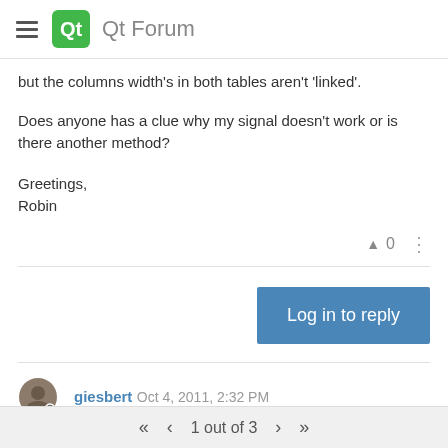Qt Forum
but the columns width's in both tables aren't 'linked'.
Does anyone has a clue why my signal doesn't work or is there another method?
Greetings,
Robin
Log in to reply
giesbert  Oct 4, 2011, 2:32 PM
Do you get some statements on the command line /debugger output window for the connect statement? Perhaps, there is a problem.
1 out of 3